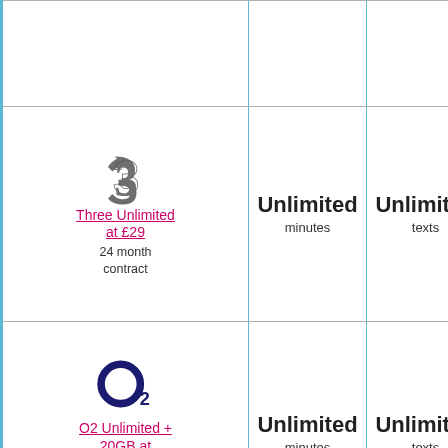| Plan | Minutes | Texts | Data | Price |
| --- | --- | --- | --- | --- |
| Three Unlimited at £29
24 month contract | Unlimited minutes | Unlimited texts | Unlimited data | £149.99 |
| O2 Unlimited + 20GB at £26
24 month contract | Unlimited minutes | Unlimited texts | 20.00 GB data | £222.99 |